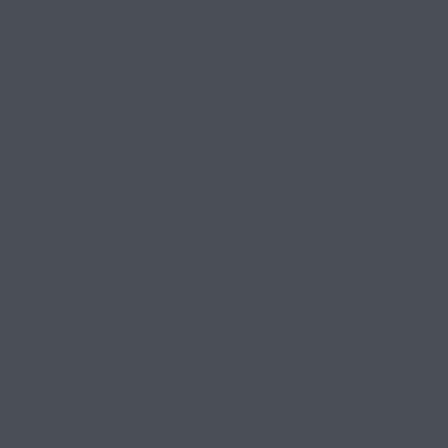bigger buttons, while Apple touchscreen phone and bui
The addition of real mouse and not just a slapped-on version c considered rethinking of what is still primarily used by touch changes like this as Apple con features to iPadOS — features aspects of MacOS, but reconsi system.
See also: Tom Warren's take for T Microsoft Was Right About Tablet headline.
I think Heer gets this right. It's n Surface conceptually; it's about r certain tasks nothing beats the la never will. All computing platform inevitably take on that form. Wha